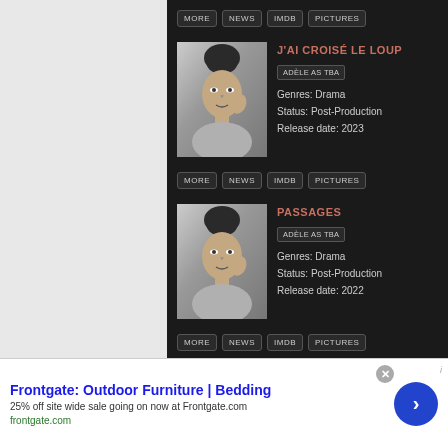MORE | NEWS | IMDB | PICTURES (top row)
[Figure (photo): Black and white portrait photo of a woman with hair up, looking to the side]
J'AI CROISÉ LE LOUP
ADÈLE AS TBA
Genres: Drama
Status: Post-Production
Release date: 2023
MORE | NEWS | IMDB | PICTURES (middle row)
[Figure (photo): Black and white portrait photo of a woman with hair up, looking to the side]
PASSAGES
ADÈLE AS TBA
Genres: Drama
Status: Post-Production
Release date: 2022
MORE | NEWS | IMDB | PICTURES (bottom row)
Frontgate: Outdoor Furniture | Bedding
25% off site wide sale going on now at Frontgate.com
frontgate.com